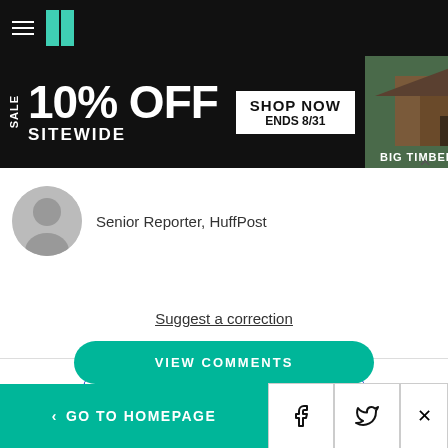HuffPost navigation
[Figure (screenshot): Advertisement banner: SALE 10% OFF SITEWIDE, SHOP NOW, ENDS 8/31, BIG TIMBER]
Senior Reporter, HuffPost
Suggest a correction
BUSINESS
MAX SCHIRESON
WORK LIFE BALANCE
MONGODB CEO
VIEW COMMENTS
< GO TO HOMEPAGE